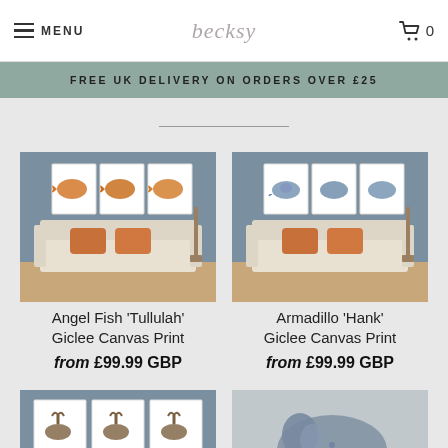MENU | becksy | 🛒 0
FREE UK DELIVERY ON ORDERS OVER £25
[Figure (photo): Angel Fish 'Tullulah' Giclee Canvas Print shown on wall above sofa — three panels with goldfish]
Angel Fish 'Tullulah' Giclee Canvas Print
from £99.99 GBP
[Figure (photo): Armadillo 'Hank' Giclee Canvas Print shown on wall above sofa — three panels with armadillos]
Armadillo 'Hank' Giclee Canvas Print
from £99.99 GBP
[Figure (photo): Partial view of a canvas print with reindeer/deer figures on three panels]
[Figure (photo): Partial view of an elephant canvas print]